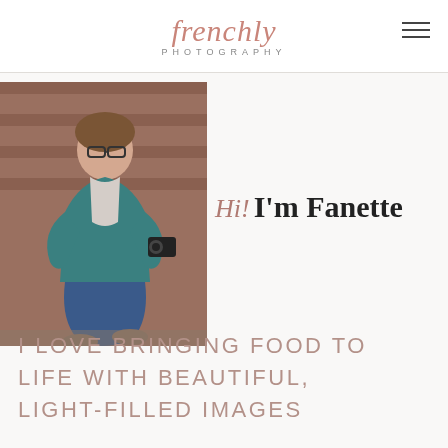frenchly PHOTOGRAPHY
[Figure (photo): Woman with glasses sitting cross-legged holding a camera, wearing a teal cardigan and jeans, against a brick wall background]
Hi! I'm Fanette
I LOVE BRINGING FOOD TO LIFE WITH BEAUTIFUL, LIGHT-FILLED IMAGES